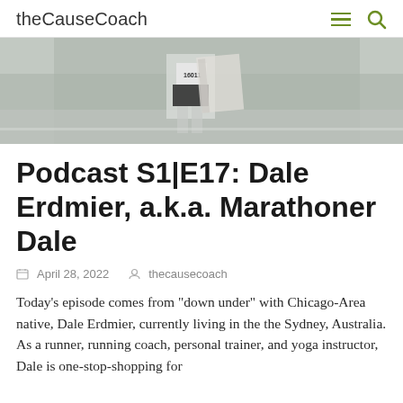theCauseCoach
[Figure (photo): A marathon runner from behind wearing a race bib, running on a road. The runner is wearing black shorts and carrying what appears to be a flag or banner.]
Podcast S1|E17: Dale Erdmier, a.k.a. Marathoner Dale
April 28, 2022   thecausecoach
Today's episode comes from “down under” with Chicago-Area native, Dale Erdmier, currently living in the the Sydney, Australia. As a runner, running coach, personal trainer, and yoga instructor, Dale is one-stop-shopping for